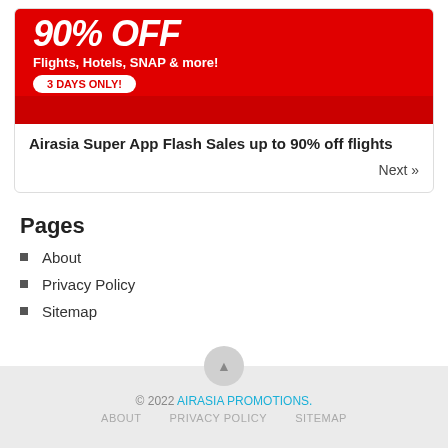[Figure (screenshot): AirAsia Super App promotional banner showing red background with '90% OFF', 'Flights, Hotels, SNAP & more!', and '3 DAYS ONLY!' badge]
Airasia Super App Flash Sales up to 90% off flights
Next »
Pages
About
Privacy Policy
Sitemap
© 2022 AIRASIA PROMOTIONS. ABOUT   PRIVACY POLICY   SITEMAP